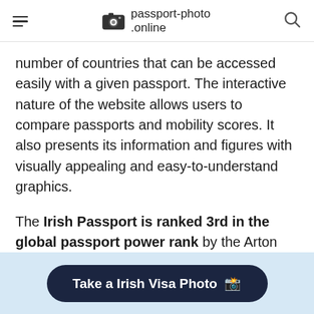passport-photo.online
number of countries that can be accessed easily with a given passport. The interactive nature of the website allows users to compare passports and mobility scores. It also presents its information and figures with visually appealing and easy-to-understand graphics.
The Irish Passport is ranked 3rd in the global passport power rank by the Arton Passport Index. The Arton Passport Index gives the Irish passport a mobility score of 124, meaning it has
Take a Irish Visa Photo 📸